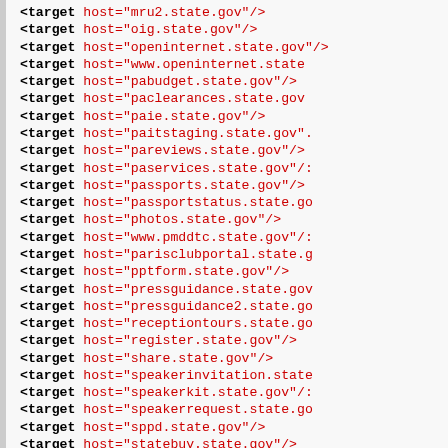<target host="mru2.state.gov"/>
<target host="oig.state.gov"/>
<target host="openinternet.state.gov"/>
<target host="www.openinternet.state"/>
<target host="pabudget.state.gov"/>
<target host="paclearances.state.gov"/>
<target host="paie.state.gov"/>
<target host="paitstaging.state.gov"/>
<target host="pareviews.state.gov"/>
<target host="paservices.state.gov"/>
<target host="passports.state.gov"/>
<target host="passportstatus.state.go"/>
<target host="photos.state.gov"/>
<target host="www.pmddtc.state.gov"/>
<target host="parisclubportal.state.go"/>
<target host="pptform.state.gov"/>
<target host="pressguidance.state.gov"/>
<target host="pressguidance2.state.go"/>
<target host="receptiontours.state.go"/>
<target host="register.state.gov"/>
<target host="share.state.gov"/>
<target host="speakerinvitation.state"/>
<target host="speakerkit.state.gov"/>
<target host="speakerrequest.state.go"/>
<target host="sppd.state.gov"/>
<target host="statebuy.state.gov"/>
<target host="www.statebuy.state.gov"/>
<target host="step.state.gov"/>
<target host="studyabroad.state.gov"/>
<target host="www.studyabroad.state"/>